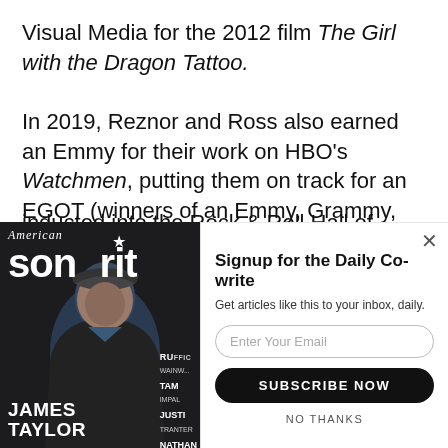Visual Media for the 2012 film The Girl with the Dragon Tattoo.

In 2019, Reznor and Ross also earned an Emmy for their work on HBO's Watchmen, putting them on track for an EGOT (winners of an Emmy, Grammy, Oscar, and Tony award). A year later, the duo was also inducted into the Rock & Roll Hall of Fame as part of
[Figure (other): American Songwriter magazine cover featuring James Taylor, with a popup overlay for newsletter signup. The magazine cover shows James Taylor seated, with the magazine masthead visible. On the right side is a signup modal: 'Signup for the Daily Co-write', an email input field, a 'SUBSCRIBE NOW' button, and a 'NO THANKS' link.]